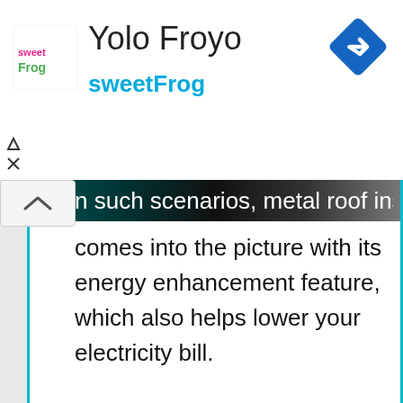[Figure (logo): sweetFrog logo - pink and green text on white square background]
Yolo Froyo
sweetFrog
[Figure (other): Blue diamond-shaped navigation/turn icon with right-pointing arrow]
n such scenarios, metal roof insulation comes into the picture with its energy enhancement feature, which also helps lower your electricity bill.